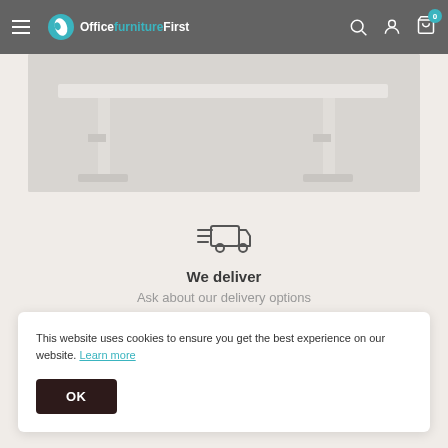OfficeFurnitureFirst — navigation bar with hamburger menu, logo, search, account, cart (0)
[Figure (photo): Product photo showing white height-adjustable desk frame/legs against light grey background]
[Figure (illustration): Delivery truck icon with motion lines indicating fast delivery]
We deliver
Ask about our delivery options
[Figure (illustration): Teal heart/care icon partially visible at bottom before cookie banner]
This website uses cookies to ensure you get the best experience on our website. Learn more
OK